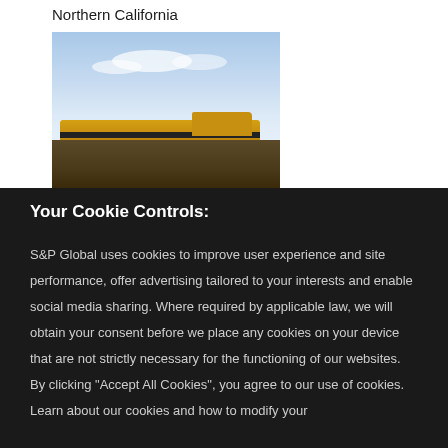Northern California
[Figure (photo): Photo of yellow freight locomotives with a partly cloudy blue sky background in Northern California]
Your Cookie Controls:
S&P Global uses cookies to improve user experience and site performance, offer advertising tailored to your interests and enable social media sharing. Where required by applicable law, we will obtain your consent before we place any cookies on your device that are not strictly necessary for the functioning of our websites. By clicking "Accept All Cookies", you agree to our use of cookies. Learn about our cookies and how to modify your